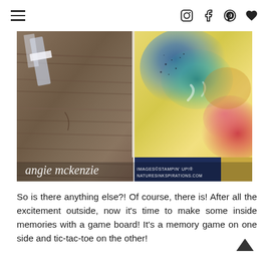Navigation header with hamburger menu and social icons (Instagram, Facebook, Pinterest, Heart/Bloglovin)
[Figure (photo): Collage of crafting images: left half shows wood grain surface with tape and a card, right half shows colorful watercolor splatters in blue, teal, red and yellow on paper. Watermark reads 'angie mckenzie IMAGES STAMPIN UP! NATURESINKSPIRATIONS.COM']
So is there anything else?!  Of course, there is!  After all the excitement outside, now it's time to make some inside memories with a game board!  It's a memory game on one side and tic-tac-toe on the other!